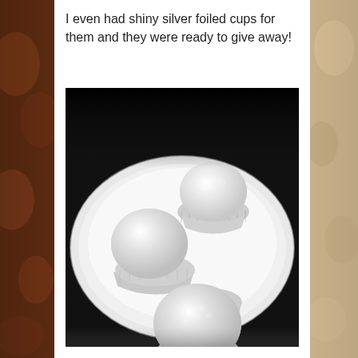I even had shiny silver foiled cups for them and they were ready to give away!
[Figure (photo): Black and white photograph of powdered sugar-dusted chocolate truffles in silver foil cups arranged on a white plate, viewed from above.]